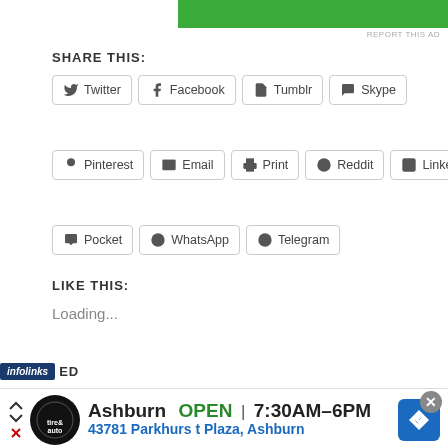[Figure (other): Green advertisement banner at top of page]
REPORT THIS AD
SHARE THIS:
Twitter  Facebook  Tumblr  Skype  Pinterest  Email  Print  Reddit  LinkedIn  Pocket  WhatsApp  Telegram
LIKE THIS:
Loading...
RELATED
[Figure (infographic): Advertisement banner for Virginia Tire & Auto in Ashburn. Shows: Ashburn OPEN 7:30AM-6PM, 43781 Parkhurst Plaza, Ashburn]